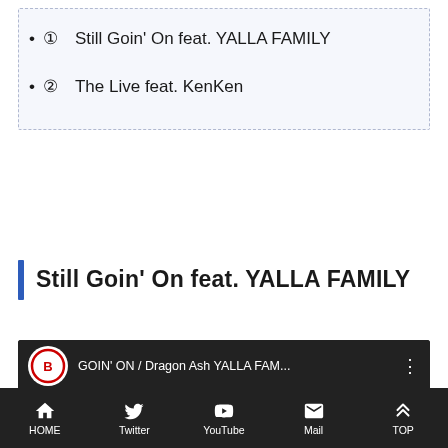①　Still Goin' On feat. YALLA FAMILY
②　The Live feat. KenKen
Still Goin' On feat. YALLA FAMILY
[Figure (screenshot): YouTube video embed showing 'GOIN' ON / Dragon Ash YALLA FAM...' with a red scorpion logo thumbnail and dark video frame with play button]
HOME  Twitter  YouTube  Mail  TOP